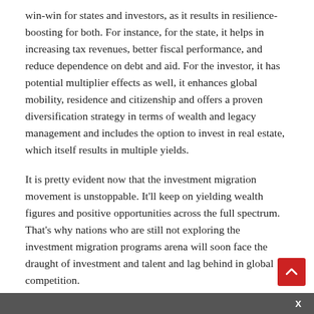win-win for states and investors, as it results in resilience-boosting for both. For instance, for the state, it helps in increasing tax revenues, better fiscal performance, and reduce dependence on debt and aid. For the investor, it has potential multiplier effects as well, it enhances global mobility, residence and citizenship and offers a proven diversification strategy in terms of wealth and legacy management and includes the option to invest in real estate, which itself results in multiple yields.
It is pretty evident now that the investment migration movement is unstoppable. It'll keep on yielding wealth figures and positive opportunities across the full spectrum. That's why nations who are still not exploring the investment migration programs arena will soon face the draught of investment and talent and lag behind in global competition.
Also, when it comes to securing investment migration, it is
X